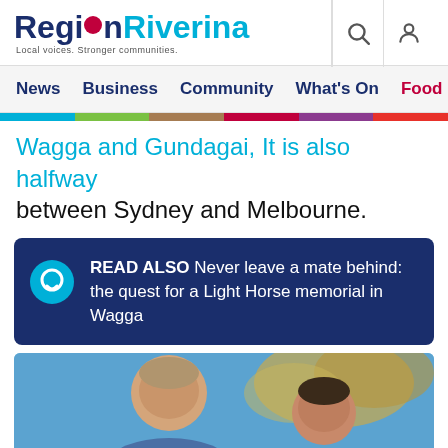Region Riverina — Local voices. Stronger communities.
News | Business | Community | What's On | Food & Wi...
Wagga and Gundagai, It is also halfway between Sydney and Melbourne.
READ ALSO  Never leave a mate behind: the quest for a Light Horse memorial in Wagga
[Figure (photo): Two people smiling outdoors with blue sky and autumn foliage in the background]